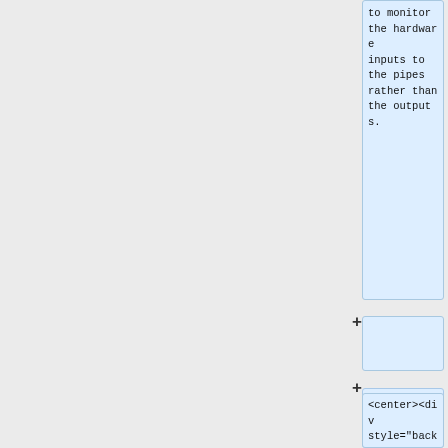[Figure (screenshot): A document/code editor UI showing two code snippet boxes in the right column. The top box (continuation from previous page) contains monospace text: 'to monitor the hardware inputs to the pipes rather than the outputs.' Below it is a collapsed/empty box with a plus sign, then another code box containing HTML/CSS code: '<center><div style="background-color:#DDDDF F;border-color:#CCCCD D;border-style:solid;width:80%;padding:0 1em 1em 1em;text-align:left;">' with a trailing '>' at the bottom. Both boxes have a light blue background. The left portion of the page is a gray panel separated by a vertical line.]